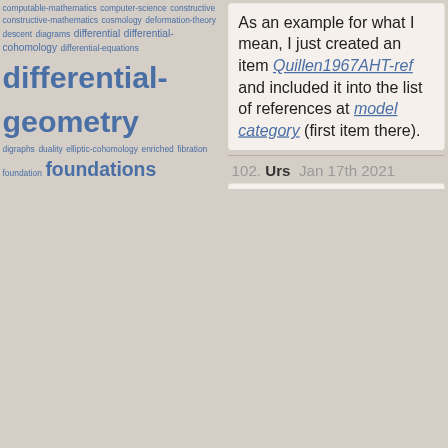computable-mathematics computer-science constructive constructive-mathematics cosmology deformation-theory descent diagrams differential differential-cohomology differential-equations differential-geometry digraphs duality elliptic-cohomology enriched fibration foundation foundations functional-analysis functor galois-theory gauge-theory gebra geometric geometric-quantization geometry graph graphs gravity grothendieck group group-theory harmonic-analysis higher higher-algebra higher-category-theory higher-differential-geometry higher-geometry higher-lie-theory higher-topos-theory homological homological-algebra homotopy homotopy-theory homotopy-type-theory index-theory integration integration-theory k-theory lie-theory limits linear linear-algebra locale localization logic mathematics measure-theory modal modal-logic model model-category-theory monad monads monoidal monoidal-category-theory morphism motives motivic-cohomology nforum nlab noncommutative noncommutative-geometry number-...
As an example for what I mean, I just created an item Quillen1967AHT-ref and included it into the list of references at model category (first item there).
102. Urs Jan 17th 2021
PermaLink
On a more elementary note:

The vertical spacing above the first bullet list items on second nesting level is too small.

An example now in the Sandbox.

This might seem petty